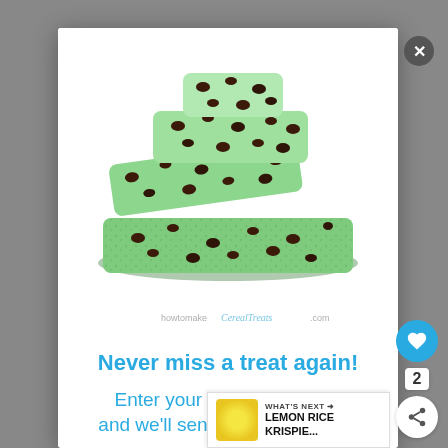[Figure (photo): Stack of mint chocolate chip rice crispy treats on white background, with watermark howtomakeCerealTreats.com]
Never miss a treat again!
Enter your email address b and we'll send you the goodies
WHAT'S NEXT → LEMON RICE KRISPIE...